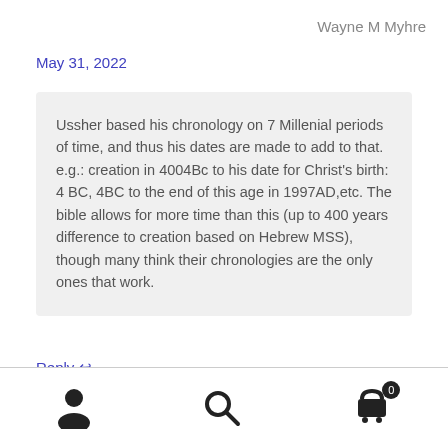Wayne M Myhre
May 31, 2022
Ussher based his chronology on 7 Millenial periods of time, and thus his dates are made to add to that. e.g.: creation in 4004Bc to his date for Christ's birth: 4 BC, 4BC to the end of this age in 1997AD,etc. The bible allows for more time than this (up to 400 years difference to creation based on Hebrew MSS), though many think their chronologies are the only ones that work.
Reply ↩
[Figure (other): Bottom navigation bar with person icon, search icon, and shopping cart icon with badge showing 0]